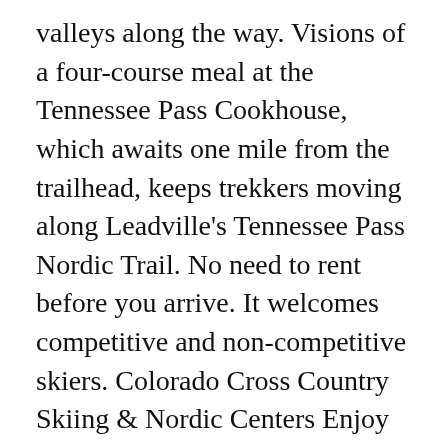valleys along the way. Visions of a four-course meal at the Tennessee Pass Cookhouse, which awaits one mile from the trailhead, keeps trekkers moving along Leadville's Tennessee Pass Nordic Trail. No need to rent before you arrive. It welcomes competitive and non-competitive skiers. Colorado Cross Country Skiing & Nordic Centers Enjoy the great outdoors on cross country skis. After your adventures in the backcountry, head back for made-to-order foodâthe three-course, candlelit dinners with wine are a food highlight. It offers more than 55 miles of groomed, free cross-country trails, funded by the Pitkin County Open Space and Trails Program. Flats,